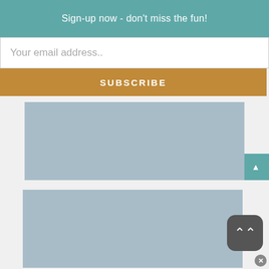Sign-up now - don't miss the fun!
Your email address..
SUBSCRIBE
[Figure (photo): Blue-grey image placeholder block at top]
[Figure (photo): Blue-grey image card block with overlay title text: Awesome CNY Activities with my Favourite HK Desserts Place at Vivocity]